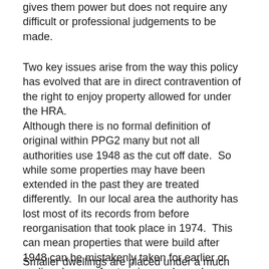gives them power but does not require any difficult or professional judgements to be made.
Two key issues arise from the way this policy has evolved that are in direct contravention of the right to enjoy property allowed for under the HRA.
Although there is no formal definition of original within PPG2 many but not all authorities use 1948 as the cut off date.  So while some properties may have been extended in the past they are treated differently.  In our local area the authority has lost most of its records from before reorganisation that took place in 1974.  This can mean properties that were build after 1948 can be mistakenly taken for earlier or earlier phases of extension work can be incorrectly assumed to be part of the original.  Other authorities now take later dates (one as late as 1980) as the cut off date.
Smaller dwellings are placed under a much greater